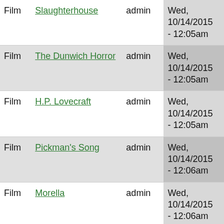| Type | Title | Author | Date |
| --- | --- | --- | --- |
| Film | Slaughterhouse | admin | Wed, 10/14/2015 - 12:05am |
| Film | The Dunwich Horror | admin | Wed, 10/14/2015 - 12:05am |
| Film | H.P. Lovecraft | admin | Wed, 10/14/2015 - 12:05am |
| Film | Pickman's Song | admin | Wed, 10/14/2015 - 12:06am |
| Film | Morella | admin | Wed, 10/14/2015 - 12:06am |
| Film | The Dunwich Horror and Others | admin | Wed, 10/14/2015 - 12:06am |
| Film | Cannibal Flesh Riot | admin | Wed, 10/14/2015 - 12:06am |
| Film | The Amazing Screw-On Head | admin | Wed, 10/14/2015 - 12:06am |